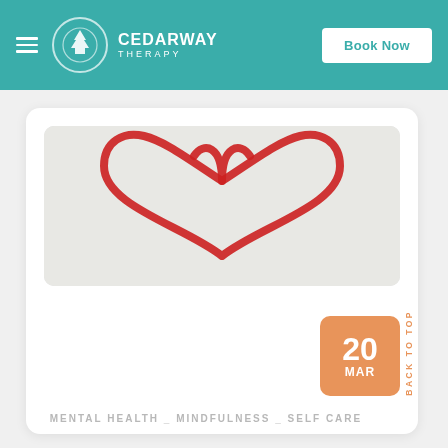CEDARWAY THERAPY — Book Now
[Figure (illustration): Red hand-drawn heart shape on a light grey/white concrete textured background, cropped to show upper portion of heart]
20 MAR
BACK TO TOP
MENTAL HEALTH _ MINDFULNESS _ SELF CARE